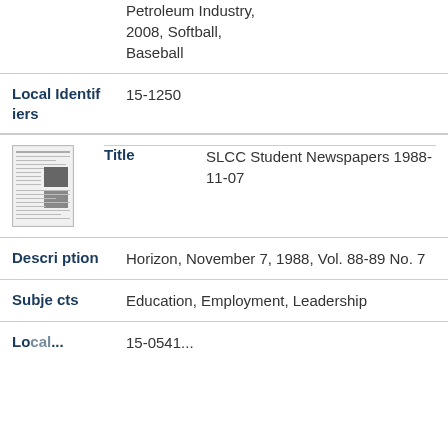Petroleum Industry, 2008, Softball, Baseball
| Local Identifiers | 15-1250 |
| Title | SLCC Student Newspapers 1988-11-07 |
| Description | Horizon, November 7, 1988, Vol. 88-89 No. 7 |
| Subjects | Education, Employment, Leadership |
| Local... | 15-0541... |